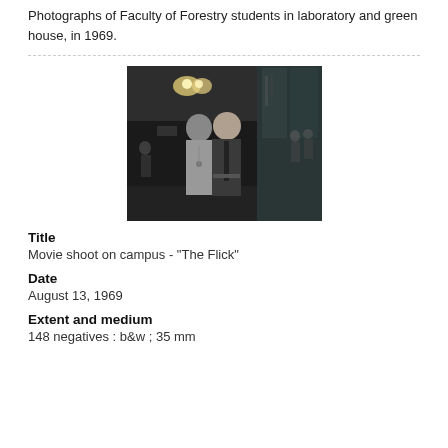Photographs of Faculty of Forestry students in laboratory and green house, in 1969.
[Figure (photo): Black and white photograph of people on a movie shoot on campus, two men visible in foreground in front of glass building.]
Title
Movie shoot on campus - "The Flick"
Date
August 13, 1969
Extent and medium
148 negatives : b&w ; 35 mm